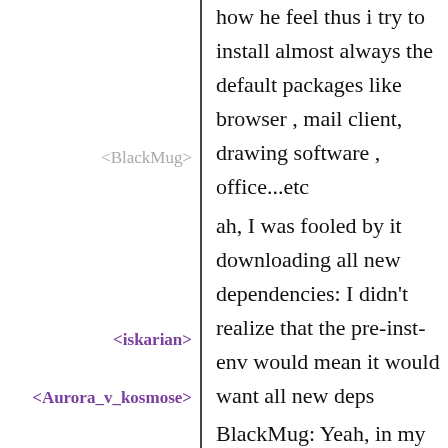<BlackMug>
how he feel thus i try to install almost always the default packages like browser , mail client, drawing software , office...etc
<iskarian>
ah, I was fooled by it downloading all new dependencies: I didn’t realize that the pre-inst-env would mean it would want all new deps
<Aurora_v_kosmose>
BlackMug: Yeah, in my case it's mainly Guile, ABCL, SBCL &